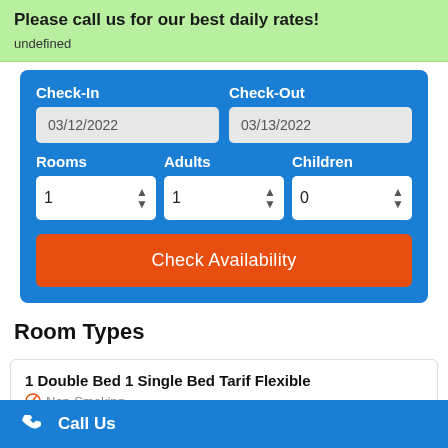Please call us for our best daily rates!
undefined
[Figure (screenshot): Hotel booking widget with Check-In date 03/12/2022, Check-Out date 03/13/2022, Rooms: 1, Adults: 1, Children: 0, and a Check Availability orange button]
Room Types
1 Double Bed 1 Single Bed Tarif Flexible
Non-Smoking
Call Us